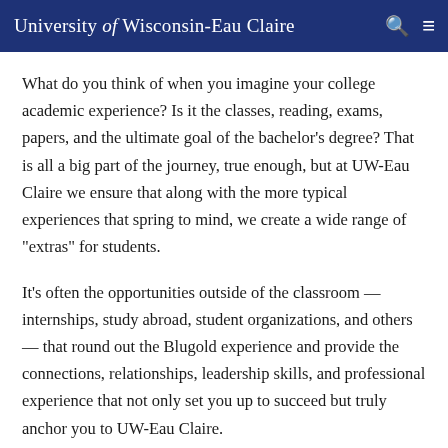University of Wisconsin-Eau Claire
What do you think of when you imagine your college academic experience? Is it the classes, reading, exams, papers, and the ultimate goal of the bachelor's degree? That is all a big part of the journey, true enough, but at UW-Eau Claire we ensure that along with the more typical experiences that spring to mind, we create a wide range of "extras" for students.
It's often the opportunities outside of the classroom — internships, study abroad, student organizations, and others — that round out the Blugold experience and provide the connections, relationships, leadership skills, and professional experience that not only set you up to succeed but truly anchor you to UW-Eau Claire.
A little something extra